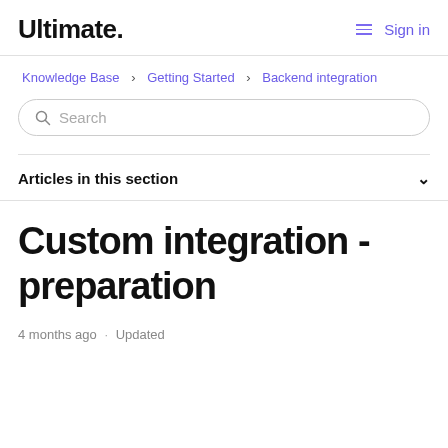Ultimate. Sign in
Knowledge Base › Getting Started › Backend integration
Search
Articles in this section
Custom integration - preparation
4 months ago · Updated